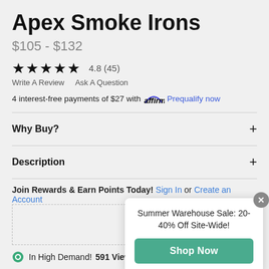Apex Smoke Irons
$105 - $132
★★★★★ 4.8 (45)
Write A Review   Ask A Question
4 interest-free payments of $27 with affirm. Prequalify now
Why Buy?
Description
Join Rewards & Earn Points Today! Sign In or Create an Account
Summer Warehouse Sale: 20-40% Off Site-Wide!
Shop Now
In High Demand! 591 Views Today!